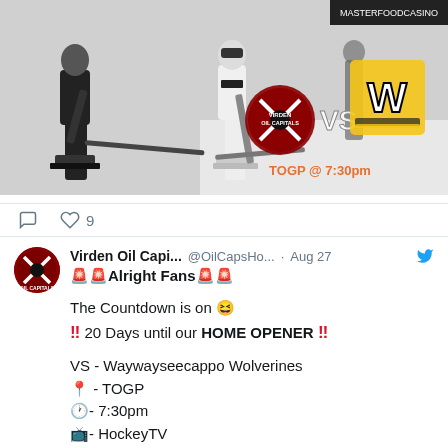[Figure (photo): Black and white hockey action photo with two players on ice. Overlaid logos showing Virden Oil Capitals vs SW (Waywayseecappo Wolverines) with text 'TOGP @ 7:30pm']
♡ 9
Virden Oil Capi... @OilCapsHo... · Aug 27
🚨🚨Alright Fans🚨🚨

The Countdown is on 😆
‼ 20 Days until our HOME OPENER ‼

VS - Waywayseecappo Wolverines
📍- TOGP
🕐- 7:30pm
📺- HockeyTV